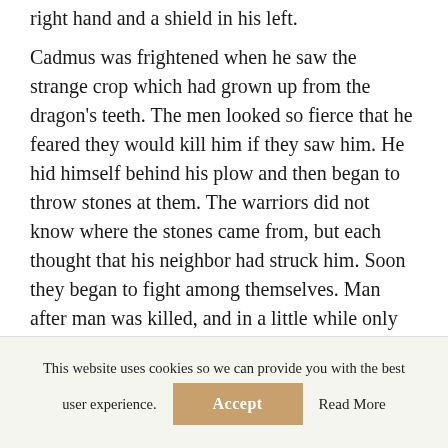right hand and a shield in his left.
Cadmus was frightened when he saw the strange crop which had grown up from the dragon's teeth. The men looked so fierce that he feared they would kill him if they saw him. He hid himself behind his plow and then began to throw stones at them. The warriors did not know where the stones came from, but each thought that his neighbor had struck him. Soon they began to fight among themselves. Man after man was killed, and in a little while only five were left alive. Then Cadmus ran towards them and called out:
This website uses cookies so we can provide you with the best user experience.
Accept
Read More